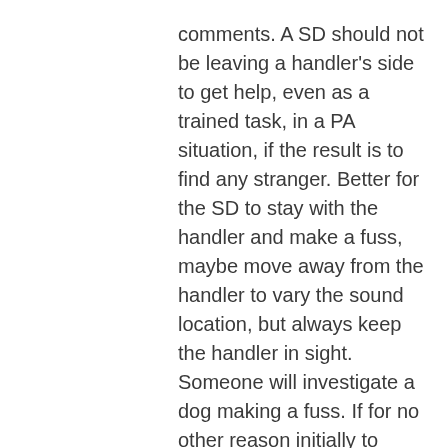comments. A SD should not be leaving a handler's side to get help, even as a trained task, in a PA situation, if the result is to find any stranger. Better for the SD to stay with the handler and make a fuss, maybe move away from the handler to vary the sound location, but always keep the handler in sight. Someone will investigate a dog making a fuss. If for no other reason initially to complain.

In my opinion there are too many dangers for a SD alone without the handler. When there have been known, reported, attempts to steal